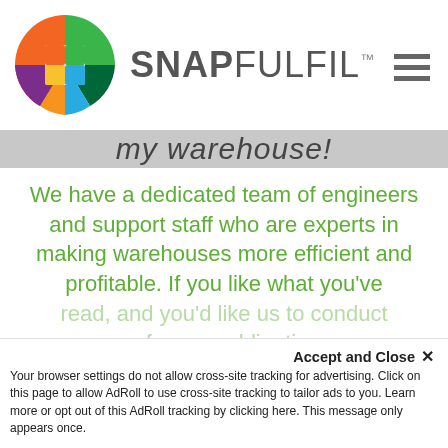[Figure (logo): SnapFulfil logo with colorful pinwheel circle and brand name SNAPFULFIL with hamburger menu icon]
my warehouse!
We have a dedicated team of engineers and support staff who are experts in making warehouses more efficient and profitable. If you like what you've read, and you'd like us to conduct a free, no obligation demonstration, please contact us!
This website uses cookies to ensure you get the best experience on our website. View our privacy policy
Accept and Close ✕ Your browser settings do not allow cross-site tracking for advertising. Click on this page to allow AdRoll to use cross-site tracking to tailor ads to you. Learn more or opt out of this AdRoll tracking by clicking here. This message only appears once.